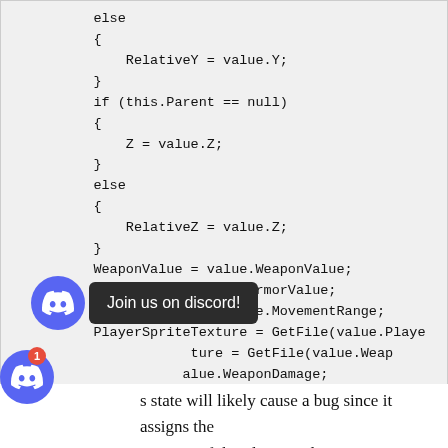[Figure (screenshot): Code block showing C# code with else/if blocks for RelativeY, Z, RelativeZ, and property assignments for WeaponValue, ArmorValue, MovementRange, PlayerSpriteTexture, WeaponDamage, WeaponRange with a Discord overlay tooltip saying 'Join us on discord!']
s state will likely cause a bug since it assigns the position of the Player and may unintentionally alter